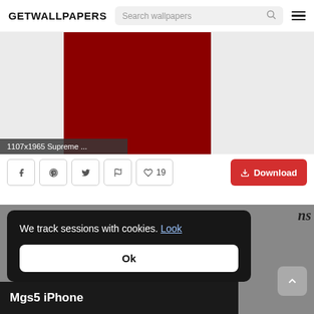GETWALLPAPERS
[Figure (screenshot): Red/dark-red wallpaper preview image centered on gray background, labeled '1107x1965 Supreme ...']
1107x1965 Supreme ...
Social sharing buttons: Facebook, Pinterest, Twitter, Flag, Heart 19, Download
We track sessions with cookies. Look
Ok
Mgs5 iPhone